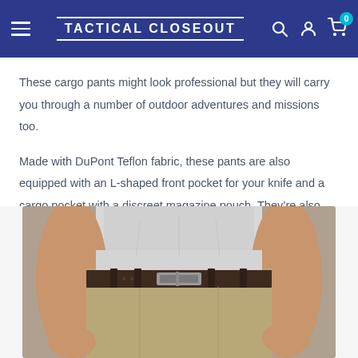TACTICAL CLOSEOUT
These cargo pants might look professional but they will carry you through a number of outdoor adventures and missions too.
Made with DuPont Teflon fabric, these pants are also equipped with an L-shaped front pocket for your knife and a cargo pocket with a discreet magazine pouch. They’re also completely water repellent.
[Figure (photo): Man wearing khaki cargo pants with a dark brown leather belt and grey t-shirt, showing waist and thigh area of the pants.]